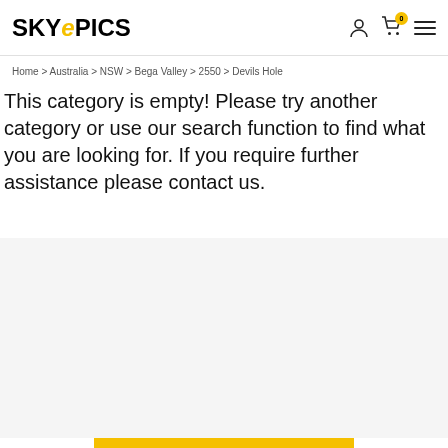SKYePICS
Home > Australia > NSW > Bega Valley > 2550 > Devils Hole
This category is empty! Please try another category or use our search function to find what you are looking for. If you require further assistance please contact us.